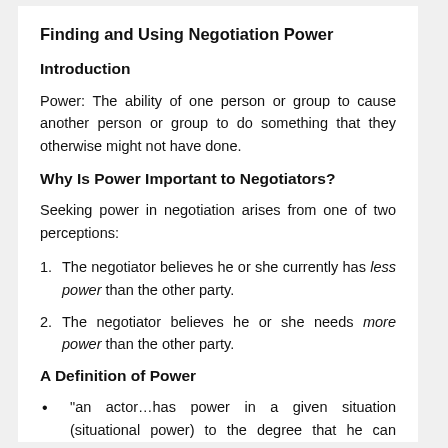Finding and Using Negotiation Power
Introduction
Power: The ability of one person or group to cause another person or group to do something that they otherwise might not have done.
Why Is Power Important to Negotiators?
Seeking power in negotiation arises from one of two perceptions:
1. The negotiator believes he or she currently has less power than the other party.
2. The negotiator believes he or she needs more power than the other party.
A Definition of Power
“an actor…has power in a given situation (situational power) to the degree that he can satisfy the purposes (goals, desires, or wants) that he is attempting to fulfill in